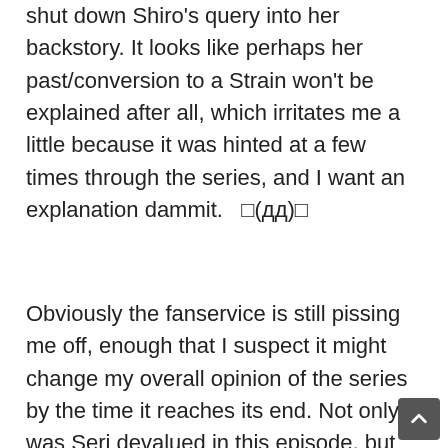shut down Shiro's query into her backstory. It looks like perhaps her past/conversion to a Strain won't be explained after all, which irritates me a little because it was hinted at a few times through the series, and I want an explanation dammit.  □(дд)□
Obviously the fanservice is still pissing me off, enough that I suspect it might change my overall opinion of the series by the time it reaches its end. Not only was Seri devalued in this episode, but we got a quick peek at Neko's chest essentially coming out of her outfit. The only reason why we saw no nipples were because they were hiding under her breasts or something. Just more pointless fanservice. Overall a thumbs down for this episode.
And why isn't the opening theme subtitled yet??  □ ∩ □